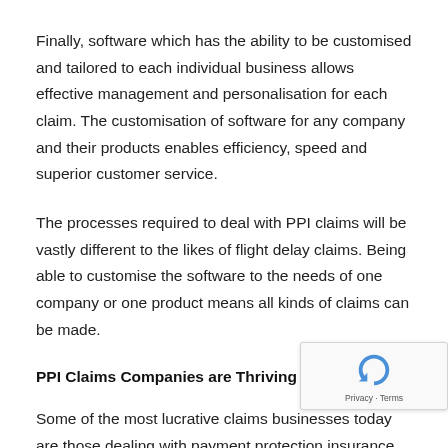Finally, software which has the ability to be customised and tailored to each individual business allows effective management and personalisation for each claim. The customisation of software for any company and their products enables efficiency, speed and superior customer service.
The processes required to deal with PPI claims will be vastly different to the likes of flight delay claims. Being able to customise the software to the needs of one company or one product means all kinds of claims can be made.
PPI Claims Companies are Thriving
Some of the most lucrative claims businesses today are those dealing with payment protection insurance (PPI)...